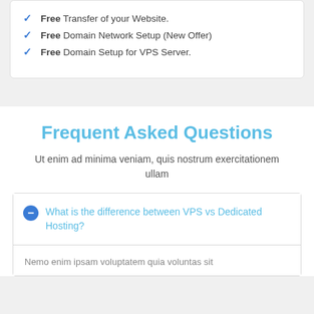Free Transfer of your Website.
Free Domain Network Setup (New Offer)
Free Domain Setup for VPS Server.
Frequent Asked Questions
Ut enim ad minima veniam, quis nostrum exercitationem ullam
What is the difference between VPS vs Dedicated Hosting?
Nemo enim ipsam voluptatem quia voluntas sit